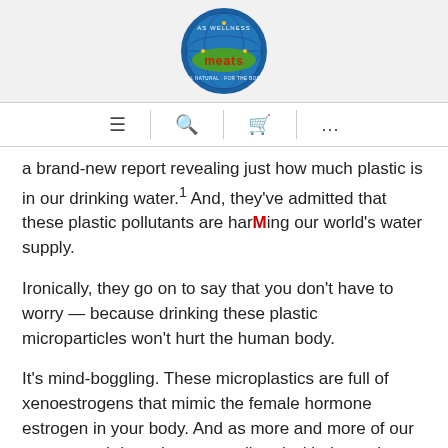[Figure (logo): AS Wellness Meats circular logo with blue border and globe graphic]
Navigation bar with menu, search, cart, and more icons
a brand-new report revealing just how much plastic is in our drinking water.¹ And, they've admitted that these plastic pollutants are harMing our world's water supply.
Ironically, they go on to say that you don't have to worry — because drinking these plastic microparticles won't hurt the human body.
It's mind-boggling. These microplastics are full of xenoestrogens that mimic the female hormone estrogen in your body. And as more and more of our oceans and rivers become polluted with them, the more we consume.